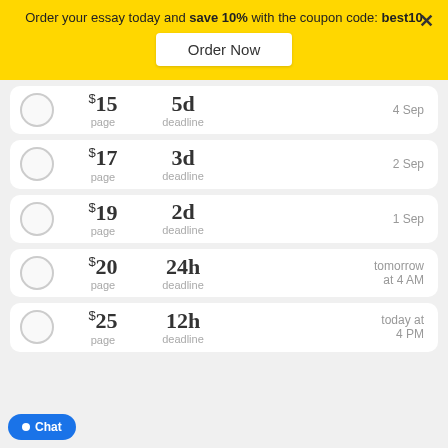Order your essay today and save 10% with the coupon code: best10
Order Now
$15 page | 5d deadline | 4 Sep
$17 page | 3d deadline | 2 Sep
$19 page | 2d deadline | 1 Sep
$20 page | 24h deadline | tomorrow at 4 AM
$25 page | 12h deadline | today at 4 PM